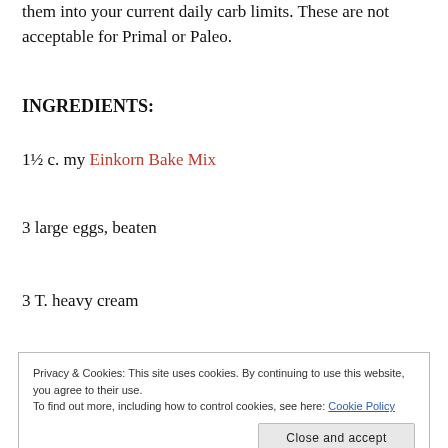them into your current daily carb limits. These are not acceptable for Primal or Paleo.
INGREDIENTS:
1½ c. my Einkorn Bake Mix
3 large eggs, beaten
3 T. heavy cream
Privacy & Cookies: This site uses cookies. By continuing to use this website, you agree to their use. To find out more, including how to control cookies, see here: Cookie Policy